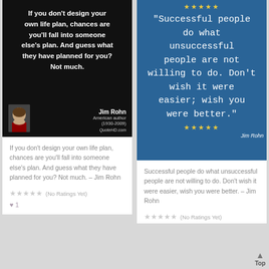[Figure (illustration): Quote card with black background. Text: 'If you don't design your own life plan, chances are you'll fall into someone else's plan. And guess what they have planned for you? Not much.' Attribution: Jim Rohn, American author (1930-2009). QuoteHD.com logo. Small portrait photo of Jim Rohn.]
If you don't design your own life plan, chances are you'll fall into someone else's plan. And guess what they have planned for you? Not much. – Jim Rohn
★★★★★ (No Ratings Yet)
♥ 1
[Figure (illustration): Quote card with blue background and stars. Text: '"Successful people do what unsuccessful people are not willing to do. Don't wish it were easier; wish you were better."' Attribution: Jim Rohn. Stars above and below quote.]
Successful people do what unsuccessful people are not willing to do. Don't wish it were easier, wish you were better. – Jim Rohn
★★★★★ (No Ratings Yet)
Top